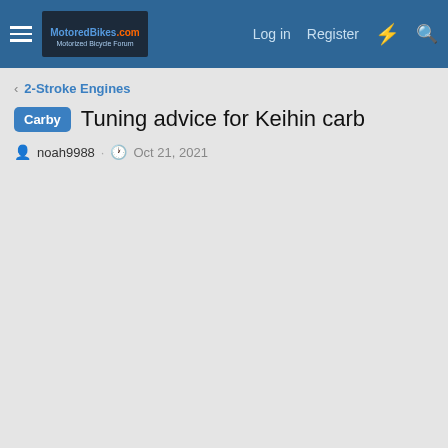MotoredBikes.com | Log in | Register
2-Stroke Engines
Carby Tuning advice for Keihin carb
noah9988 · Oct 21, 2021